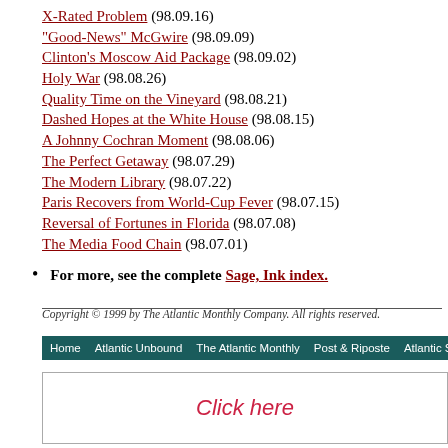X-Rated Problem (98.09.16)
"Good-News" McGwire (98.09.09)
Clinton's Moscow Aid Package (98.09.02)
Holy War (98.08.26)
Quality Time on the Vineyard (98.08.21)
Dashed Hopes at the White House (98.08.15)
A Johnny Cochran Moment (98.08.06)
The Perfect Getaway (98.07.29)
The Modern Library (98.07.22)
Paris Recovers from World-Cup Fever (98.07.15)
Reversal of Fortunes in Florida (98.07.08)
The Media Food Chain (98.07.01)
For more, see the complete Sage, Ink index.
Copyright © 1999 by The Atlantic Monthly Company. All rights reserved.
Home  Atlantic Unbound  The Atlantic Monthly  Post & Riposte  Atlantic Store  Se...